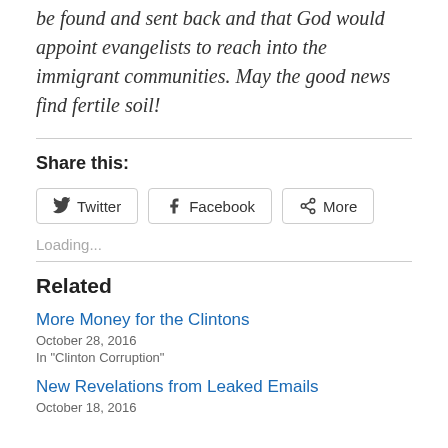be found and sent back and that God would appoint evangelists to reach into the immigrant communities. May the good news find fertile soil!
Share this:
[Figure (screenshot): Share buttons for Twitter, Facebook, and More]
Loading...
Related
More Money for the Clintons
October 28, 2016
In "Clinton Corruption"
New Revelations from Leaked Emails
October 18, 2016